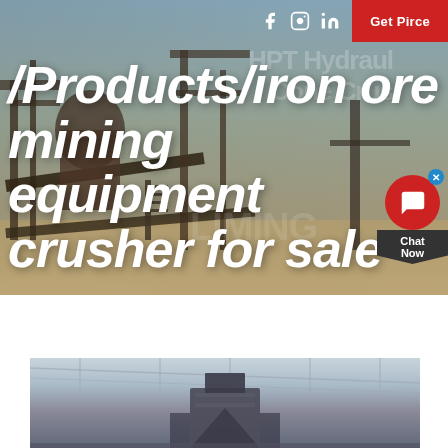[Figure (photo): Hero banner showing industrial mining equipment/crusher machinery at an outdoor site with conveyor belts and industrial structures against a blue sky]
/Products/iron ore mining equipment crusher for sale
[Figure (photo): Bottom photo showing a cone crusher or similar mining/crushing equipment inside an industrial building/warehouse with steel roof structure visible]